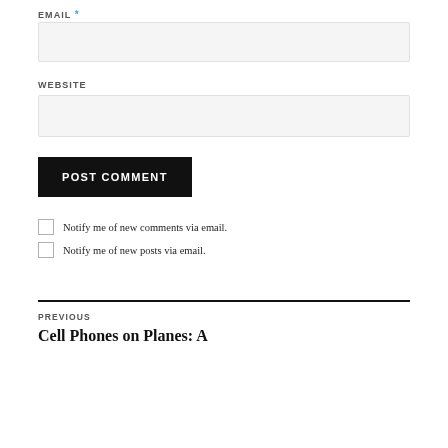EMAIL *
WEBSITE
POST COMMENT
Notify me of new comments via email.
Notify me of new posts via email.
PREVIOUS
Cell Phones on Planes: A